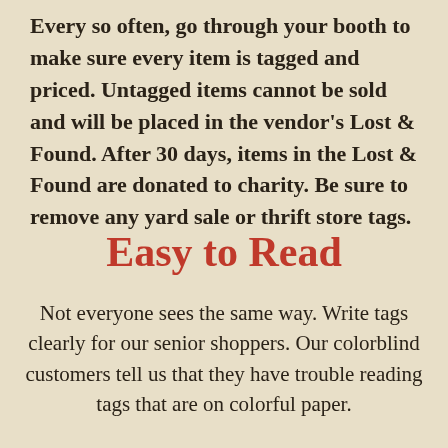Every so often, go through your booth to make sure every item is tagged and priced. Untagged items cannot be sold and will be placed in the vendor's Lost & Found. After 30 days, items in the Lost & Found are donated to charity. Be sure to remove any yard sale or thrift store tags.
Easy to Read
Not everyone sees the same way. Write tags clearly for our senior shoppers. Our colorblind customers tell us that they have trouble reading tags that are on colorful paper.